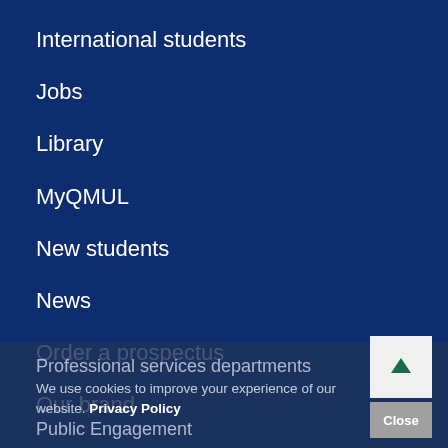International students
Jobs
Library
MyQMUL
New students
News
Order a prospectus
Our brand
Parents
Professional services departments
Public Engagement
We use cookies to improve your experience of our website. Privacy Policy